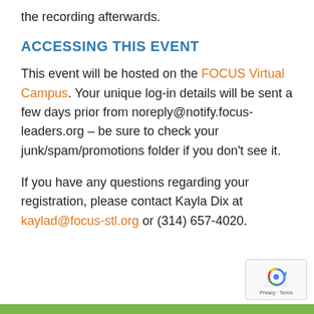the recording afterwards.
ACCESSING THIS EVENT
This event will be hosted on the FOCUS Virtual Campus. Your unique log-in details will be sent a few days prior from noreply@notify.focus-leaders.org – be sure to check your junk/spam/promotions folder if you don't see it.
If you have any questions regarding your registration, please contact Kayla Dix at kaylad@focus-stl.org or (314) 657-4020.